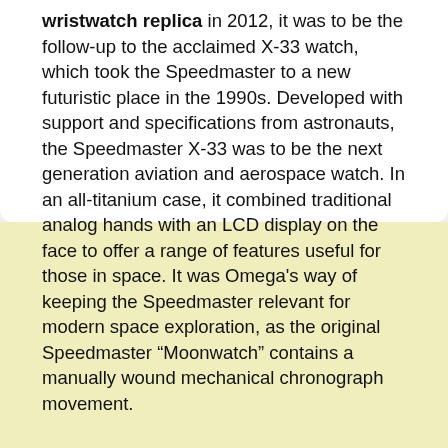wristwatch replica in 2012, it was to be the follow-up to the acclaimed X-33 watch, which took the Speedmaster to a new futuristic place in the 1990s. Developed with support and specifications from astronauts, the Speedmaster X-33 was to be the next generation aviation and aerospace watch. In an all-titanium case, it combined traditional analog hands with an LCD display on the face to offer a range of features useful for those in space. It was Omega's way of keeping the Speedmaster relevant for modern space exploration, as the original Speedmaster “Moonwatch” contains a manually wound mechanical chronograph movement.